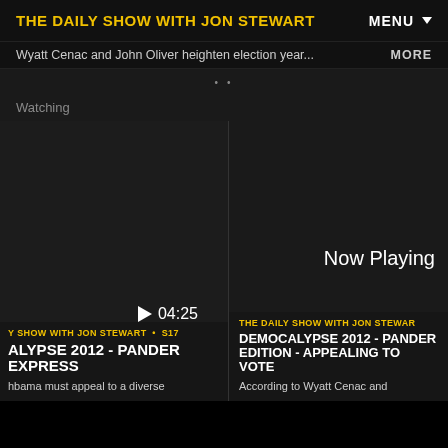THE DAILY SHOW WITH JON STEWART
MENU
Wyatt Cenac and John Oliver heighten election year...
MORE
Watching
[Figure (screenshot): Video thumbnail - dark background with play button showing 04:25]
[Figure (screenshot): Video thumbnail - dark background with 'Now Playing' text]
Y SHOW WITH JON STEWART • S17
ALYPSE 2012 - PANDER EXPRESS
hbama must appeal to a diverse
THE DAILY SHOW WITH JON STEWAR
DEMOCALYPSE 2012 - PANDER EDITION - APPEALING TO VOTE
According to Wyatt Cenac and